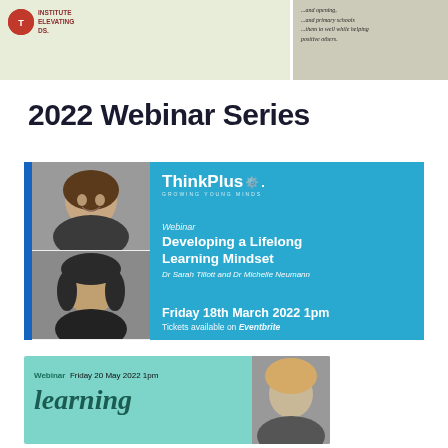[Figure (other): Top banner with institute logo on green background on left and handwritten note on grey background on right]
2022 Webinar Series
[Figure (infographic): ThinkPlus webinar promotional card: Developing a Lifelong Learning Mindset, Dr Sarah Tillott and Dr Michelle Neumann, Friday 18th March 2022 1pm, Tickets available on Eventbrite. Blue background with two black and white photos of speakers on left.]
[Figure (infographic): Second webinar card with teal background: Webinar Friday 20 May 2022 1pm, partial text 'learning', with black and white photo of speaker on right.]